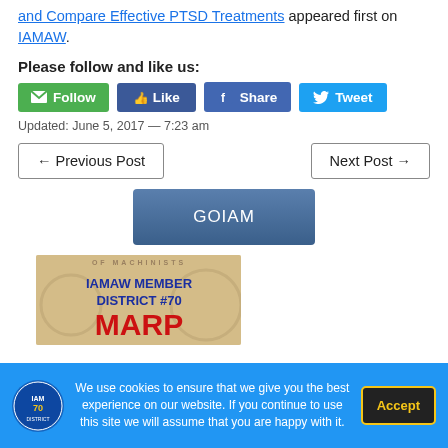and Compare Effective PTSD Treatments appeared first on IAMAW.
Please follow and like us:
[Figure (screenshot): Social media buttons: Follow (green), Like (Facebook blue), Share (Facebook blue), Tweet (Twitter blue)]
Updated: June 5, 2017 — 7:23 am
← Previous Post
Next Post →
GOIAM
[Figure (photo): IAMAW Member District #70 MARP banner image with gear/shield background]
We use cookies to ensure that we give you the best experience on our website. If you continue to use this site we will assume that you are happy with it.
Accept